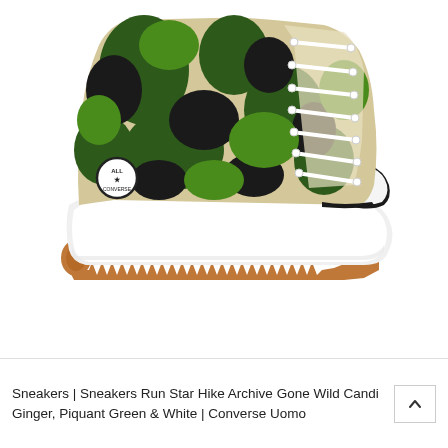[Figure (photo): Converse Run Star Hike high-top sneaker with camouflage pattern (tan, dark green, bright green, black) canvas upper, white platform midsole, and serrated gum rubber outsole, photographed on white background from side profile.]
Sneakers | Sneakers Run Star Hike Archive Gone Wild Candi Ginger, Piquant Green & White | Converse Uomo